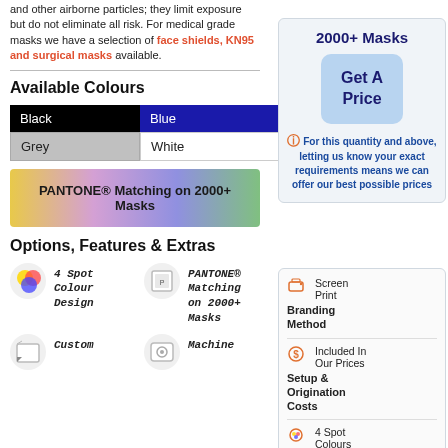and other airborne particles; they limit exposure but do not eliminate all risk. For medical grade masks we have a selection of face shields, KN95 and surgical masks available.
Available Colours
| Black | Blue |
| Grey | White |
[Figure (infographic): Gradient bar showing PANTONE® Matching on 2000+ Masks]
Options, Features & Extras
[Figure (infographic): 4 feature icons: 4 Spot Colour Design, PANTONE Matching on 2000+ Masks, Custom [icon], Machine [icon]]
2000+ Masks
[Figure (infographic): Get A Price button (blue rounded rectangle)]
For this quantity and above, letting us know your exact requirements means we can offer our best possible prices
Screen Print
Branding Method
Included In Our Prices
Setup & Origination Costs
4 Spot Colours
Max. Print...